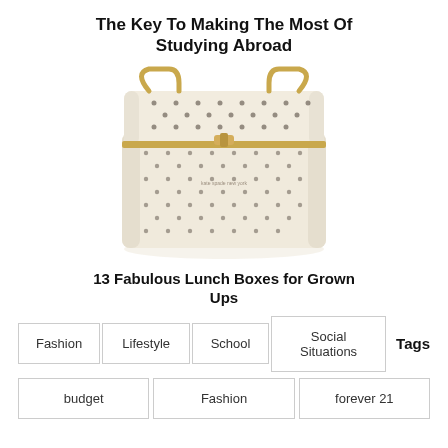The Key To Making The Most Of Studying Abroad
[Figure (photo): A cream/beige polka-dot insulated lunch box with gold zipper and handles, photographed on a white background.]
13 Fabulous Lunch Boxes for Grown Ups
Fashion  Lifestyle  School  Social Situations  Tags
budget  Fashion  forever 21